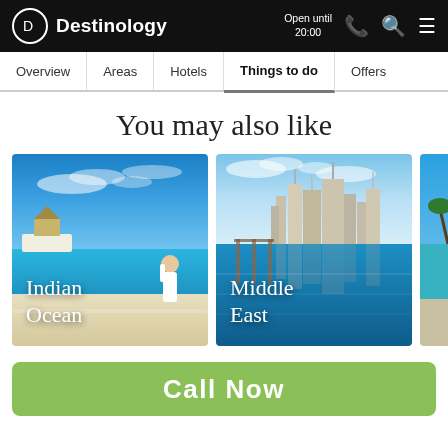Destinology | Open until 20:00
Overview | Areas | Hotels | Things to do | Offers
You may also like
[Figure (photo): Indian Ocean travel destination card with overwater bungalows and turquoise water, woman on beach]
[Figure (photo): Middle East travel destination card with Dubai marina skyline reflected in pool water]
[Figure (photo): Partial third destination card with tropical scenery]
Call Now